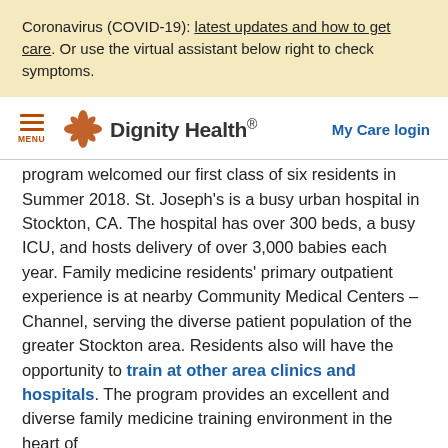Coronavirus (COVID-19): latest updates and how to get care. Or use the virtual assistant below right to check symptoms.
Dignity Health — My Care login
program welcomed our first class of six residents in Summer 2018. St. Joseph's is a busy urban hospital in Stockton, CA. The hospital has over 300 beds, a busy ICU, and hosts delivery of over 3,000 babies each year. Family medicine residents' primary outpatient experience is at nearby Community Medical Centers – Channel, serving the diverse patient population of the greater Stockton area. Residents also will have the opportunity to train at other area clinics and hospitals. The program provides an excellent and diverse family medicine training environment in the heart of